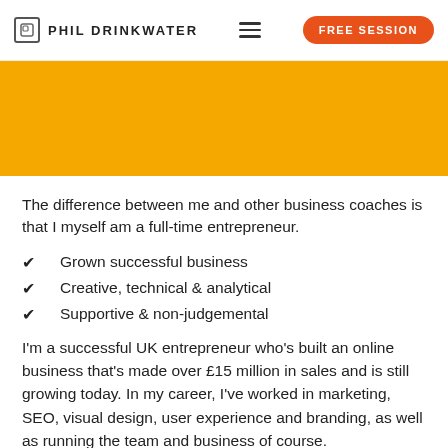PHIL DRINKWATER — FREE SESSION
[Figure (other): Orange/yellow banner background image area]
The difference between me and other business coaches is that I myself am a full-time entrepreneur.
Grown successful business
Creative, technical & analytical
Supportive & non-judgemental
I'm a successful UK entrepreneur who's built an online business that's made over £15 million in sales and is still growing today. In my career, I've worked in marketing, SEO, visual design, user experience and branding, as well as running the team and business of course.